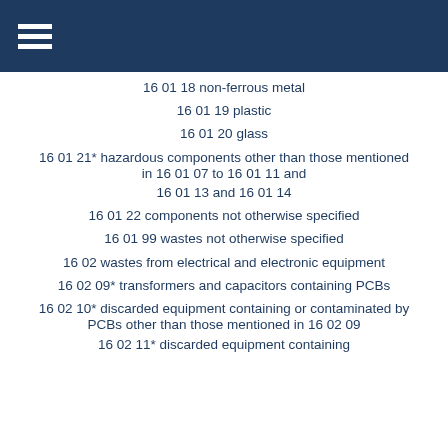16 01 18 non-ferrous metal
16 01 19 plastic
16 01 20 glass
16 01 21* hazardous components other than those mentioned in 16 01 07 to 16 01 11 and
16 01 13 and 16 01 14
16 01 22 components not otherwise specified
16 01 99 wastes not otherwise specified
16 02 wastes from electrical and electronic equipment
16 02 09* transformers and capacitors containing PCBs
16 02 10* discarded equipment containing or contaminated by PCBs other than those mentioned in 16 02 09
16 02 11* discarded equipment containing...